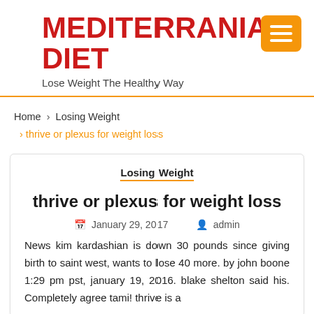MEDITERRANIAN DIET
Lose Weight The Healthy Way
Home › Losing Weight › thrive or plexus for weight loss
Losing Weight
thrive or plexus for weight loss
January 29, 2017  admin
News kim kardashian is down 30 pounds since giving birth to saint west, wants to lose 40 more. by john boone 1:29 pm pst, january 19, 2016. blake shelton said his. Completely agree tami! thrive is a